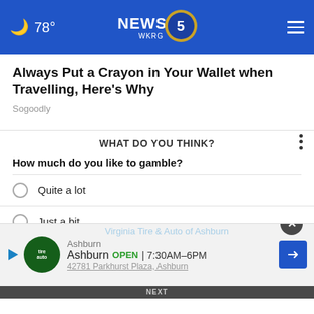78° NEWS 5 WKRG
Always Put a Crayon in Your Wallet when Travelling, Here's Why
Sogoodly
WHAT DO YOU THINK?
How much do you like to gamble?
Quite a lot
Just a bit
Not at all
No opinion / Other
[Figure (screenshot): Advertisement banner for Virginia Tire & Auto of Ashburn showing logo, open hours 7:30AM-6PM, and address 42791 Parkhurst Plaza, Ashburn]